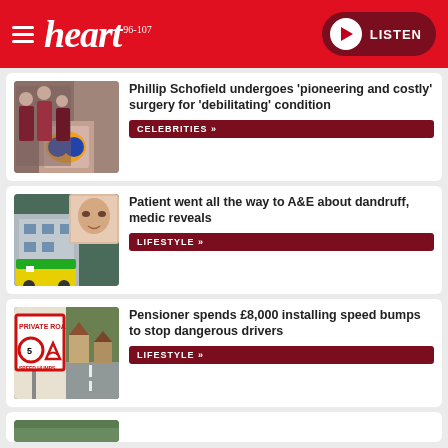heart 96-107 | LISTEN
Phillip Schofield undergoes 'pioneering and costly' surgery for 'debilitating' condition
CELEBRITIES »
Patient went all the way to A&E about dandruff, medic reveals
LIFESTYLE »
Pensioner spends £8,000 installing speed bumps to stop dangerous drivers
LIFESTYLE »